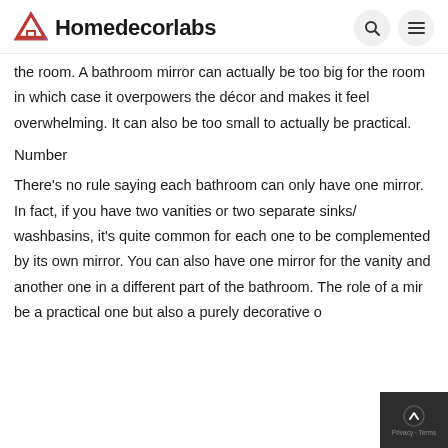Homedecorlabs
the room. A bathroom mirror can actually be too big for the room in which case it overpowers the décor and makes it feel overwhelming. It can also be too small to actually be practical.
Number
There's no rule saying each bathroom can only have one mirror. In fact, if you have two vanities or two separate sinks/ washbasins, it's quite common for each one to be complemented by its own mirror. You can also have one mirror for the vanity and another one in a different part of the bathroom. The role of a mirror can be a practical one but also a purely decorative one.